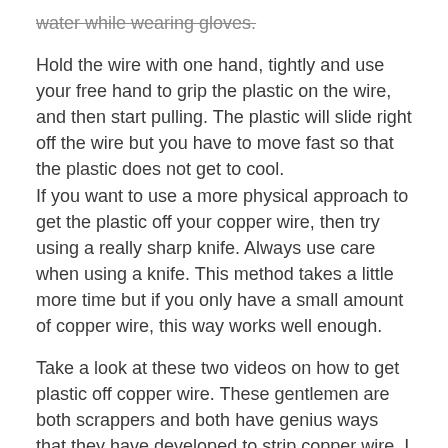water while wearing gloves.
Hold the wire with one hand, tightly and use your free hand to grip the plastic on the wire, and then start pulling. The plastic will slide right off the wire but you have to move fast so that the plastic does not get to cool.
If you want to use a more physical approach to get the plastic off your copper wire, then try using a really sharp knife. Always use care when using a knife. This method takes a little more time but if you only have a small amount of copper wire, this way works well enough.
Take a look at these two videos on how to get plastic off copper wire. These gentlemen are both scrappers and both have genius ways that they have developed to strip copper wire. I know the 2nd video has bad music but his idea is great regardless.